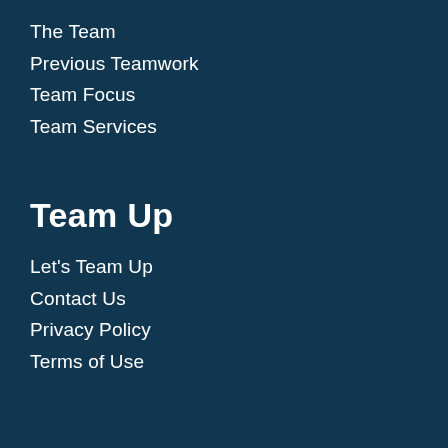The Team
Previous Teamwork
Team Focus
Team Services
Team Up
Let's Team Up
Contact Us
Privacy Policy
Terms of Use
Follow Us